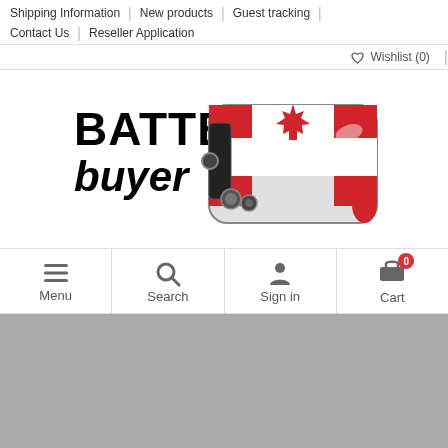Shipping Information | New products | Guest tracking | Contact Us | Reseller Application
♡ Wishlist (0) |
[Figure (logo): Battery Buyer logo with a 9V battery decorated with a Canadian flag (red and white with maple leaf). Text reads BATTERY buyer.]
Menu | Search | Sign in | Cart (0)